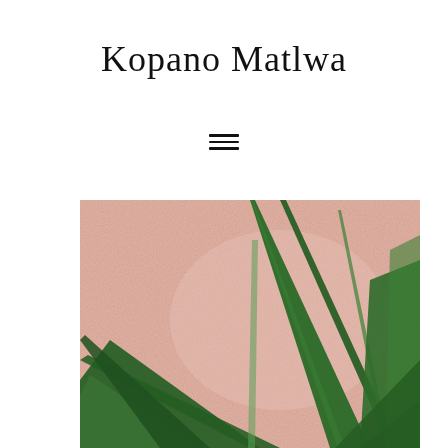Kopano Matlwa
[Figure (other): Hamburger menu icon (three horizontal lines)]
[Figure (photo): Photo of green tropical plant leaves (agave or similar) against a pink/salmon textured stucco wall background]